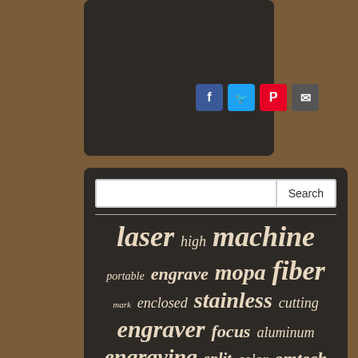[Figure (screenshot): Social media share buttons: Facebook (blue), Twitter (blue), Pinterest (red), Email (gray)]
[Figure (infographic): Tag cloud / word cloud on dark background with laser engraving related terms in varying sizes: laser, high, machine, portable, engrave, mopa, fiber, mark, enclosed, stainless, cutting, engraver, focus, aluminum, engraving, split, color, omtech, rotary, gold, desktop, stock, rotation, ezcad2, axis, steel, tumbler, non-metal, 80mm, deep, metal]